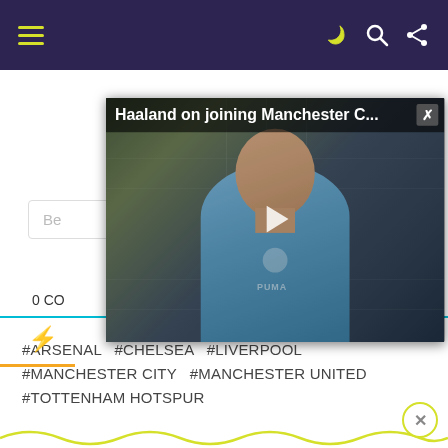Navigation bar with hamburger menu and icons
[Figure (screenshot): Video thumbnail showing Erling Haaland at a Manchester City press conference in a light blue training jacket, with BKX sponsor logos in background. Video title overlay reads 'Haaland on joining Manchester C...' with a play button and close button.]
0 CO
⚡
#ARSENAL  #CHELSEA  #LIVERPOOL
#MANCHESTER CITY  #MANCHESTER UNITED
#TOTTENHAM HOTSPUR